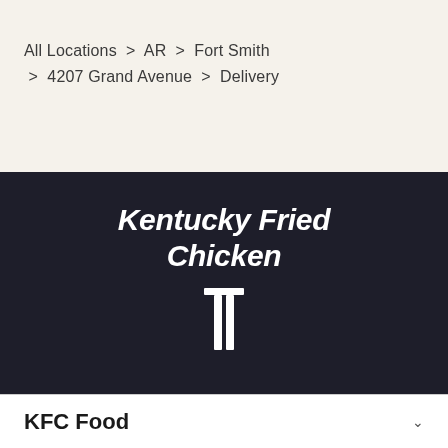All Locations > AR > Fort Smith > 4207 Grand Avenue > Delivery
[Figure (logo): Kentucky Fried Chicken logo with white text on dark background, showing 'Kentucky Fried Chicken' in italic bold font with a stylized tie/bowtie icon below]
KFC Food